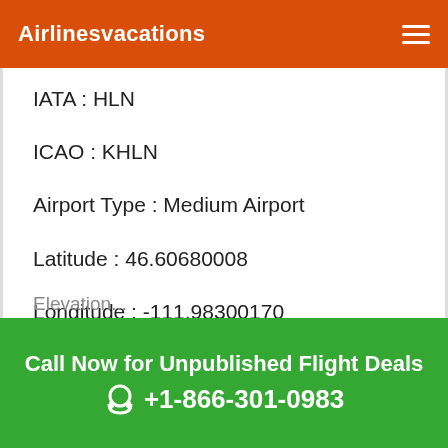Airlinesvacations
IATA : HLN
ICAO : KHLN
Airport Type : Medium Airport
Latitude : 46.60680008
Longitude : -111.98300170
Call Now for Unpublished Flight Deals +1-866-301-0983